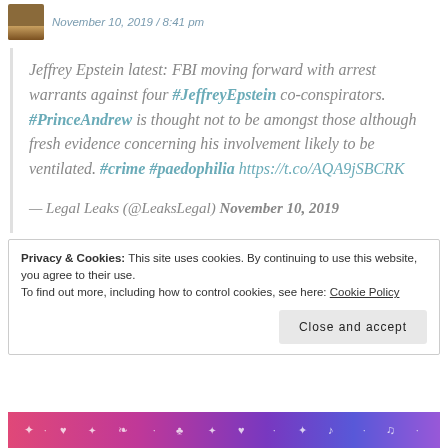November 10, 2019 / 8:41 pm
Jeffrey Epstein latest: FBI moving forward with arrest warrants against four #JeffreyEpstein co-conspirators. #PrinceAndrew is thought not to be amongst those although fresh evidence concerning his involvement likely to be ventilated. #crime #paedophilia https://t.co/AQA9jSBCRK

— Legal Leaks (@LeaksLegal) November 10, 2019
Privacy & Cookies: This site uses cookies. By continuing to use this website, you agree to their use.
To find out more, including how to control cookies, see here: Cookie Policy
Close and accept